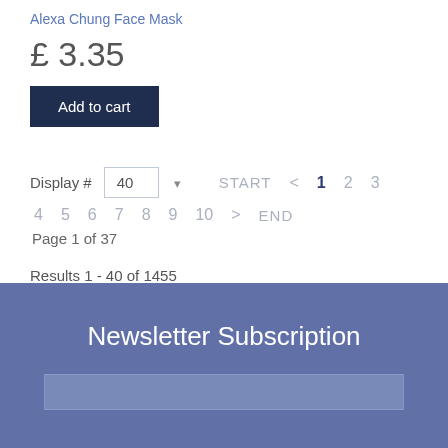Alexa Chung Face Mask
£ 3.35
Add to cart
Display #  40  START  < 1  2  3  4  5  6  7  8  9  10  >  END  Page 1 of 37
Results 1 - 40 of 1455
Newsletter Subscription